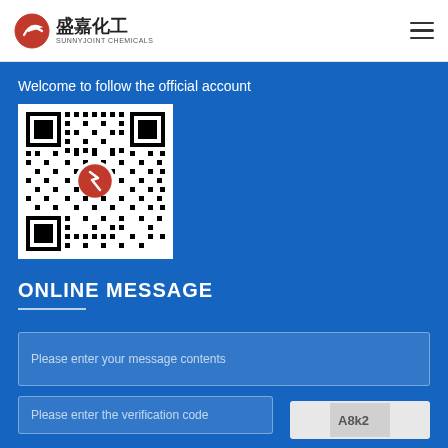盛嘉化工 SUNNYJOINT CHEMICALS
Welcome to follow the official account
[Figure (other): QR code with Sunnyjoint Chemicals logo in the center (red circle with lightning bolt icon)]
ONLINE MESSAGE
Please enter your message contents
Please enter the verification code